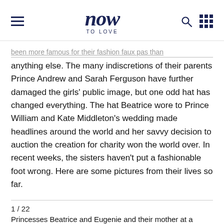now TO LOVE
been more famous for their fashion faux pas than anything else. The many indiscretions of their parents Prince Andrew and Sarah Ferguson have further damaged the girls' public image, but one odd hat has changed everything. The hat Beatrice wore to Prince William and Kate Middleton’s wedding made headlines around the world and her savvy decision to auction the creation for charity won the world over. In recent weeks, the sisters haven’t put a fashionable foot wrong. Here are some pictures from their lives so far.
1 / 22
Princesses Beatrice and Eugenie and their mother at a